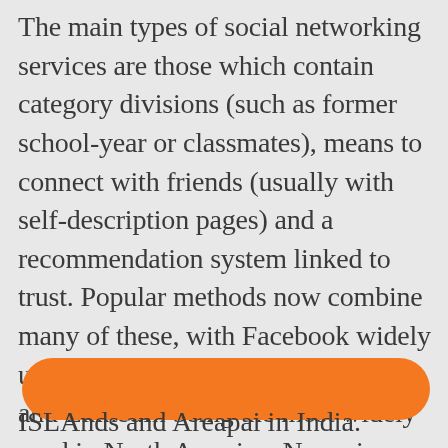The main types of social networking services are those which contain category divisions (such as former school-year or classmates), means to connect with friends (usually with self-description pages) and a recommendation system linked to trust. Popular methods now combine many of these, with Facebook widely used worldwide; MySpace, Twitter and LinkedIn being the most widely used in North America; Nexopia (mostly in Canada); Bebo, Hi5, StudiVZ (mostly in Germany), iWiW (mostly in Hungary), Tuenti (mostly in Spain), Decayenne, Tagged, XING;, Badoo and Skyrock in parts of Europe; Orkut and Hi5 in South America and Central America; and Friendster, Mixi, Multiply, Orkut, W[obscured] ISLAnds and Areapai in India.
[Figure (other): Orange rounded rectangle pill shape overlaying text, obscuring part of content]